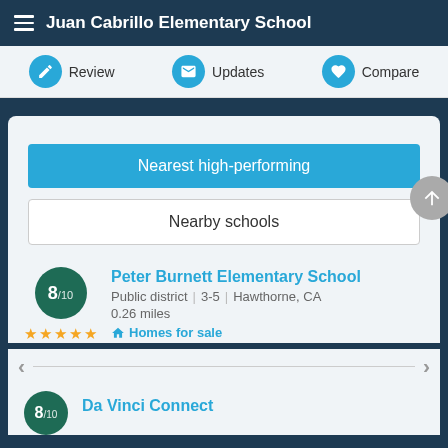Juan Cabrillo Elementary School
Review
Updates
Compare
Nearest high-performing
Nearby schools
Peter Burnett Elementary School
Public district | 3-5 | Hawthorne, CA
0.26 miles
Homes for sale
Da Vinci Connect